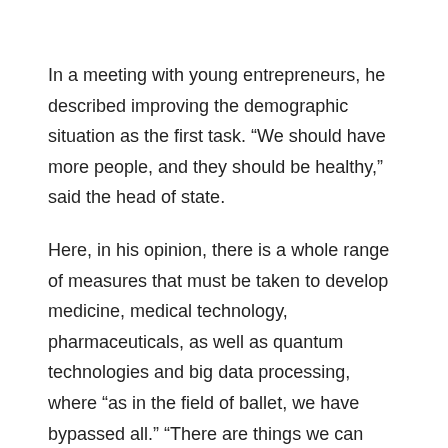In a meeting with young entrepreneurs, he described improving the demographic situation as the first task. “We should have more people, and they should be healthy,” said the head of state.
Here, in his opinion, there is a whole range of measures that must be taken to develop medicine, medical technology, pharmaceuticals, as well as quantum technologies and big data processing, where “as in the field of ballet, we have bypassed all.” “There are things we can really be proud of today. But we have to strive to ensure that we acquire new competencies, establish new engineering centers, and be pioneers in these areas. Do we have a chance? Of course there is,” Putin said.
Will we live better in ten years? asked one of the participants in the meeting.